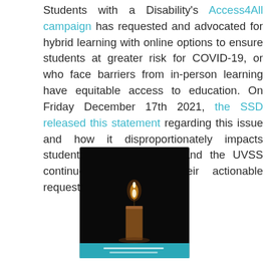Students with a Disability's Access4All campaign has requested and advocated for hybrid learning with online options to ensure students at greater risk for COVID-19, or who face barriers from in-person learning have equitable access to education. On Friday December 17th 2021, the SSD released this statement regarding this issue and how it disproportionately impacts students with a disability and the UVSS continues to support their actionable requests.
[Figure (photo): Photo of a lit candle with a dark background and a teal banner with small white text at the bottom]